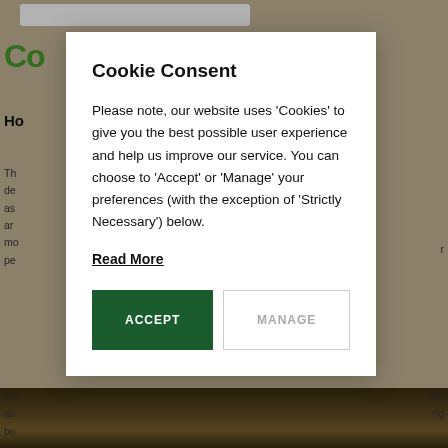[Figure (screenshot): Website background with tan/khaki header bar containing a search box, green site title partially visible at left ('Co'), body text content partially visible on left and right sides behind modal overlay, and a dark building image at the bottom.]
Cookie Consent
Please note, our website uses 'Cookies' to give you the best possible user experience and help us improve our service. You can choose to 'Accept' or 'Manage' your preferences (with the exception of 'Strictly Necessary') below.
Read More
ACCEPT
MANAGE